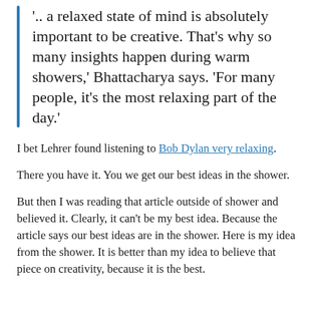'.. a relaxed state of mind is absolutely important to be creative. That's why so many insights happen during warm showers,' Bhattacharya says. 'For many people, it's the most relaxing part of the day.'
I bet Lehrer found listening to Bob Dylan very relaxing.
There you have it. You we get our best ideas in the shower.
But then I was reading that article outside of shower and believed it. Clearly, it can't be my best idea. Because the article says our best ideas are in the shower. Here is my idea from the shower. It is better than my idea to believe that piece on creativity, because it is the best.